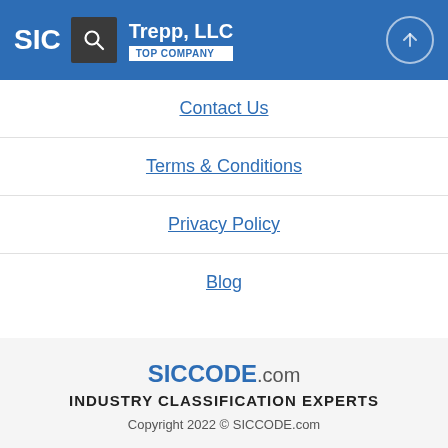SIC | Trepp, LLC | TOP COMPANY
Contact Us
Terms & Conditions
Privacy Policy
Blog
SICCODE.com | INDUSTRY CLASSIFICATION EXPERTS | Copyright 2022 © SICCODE.com